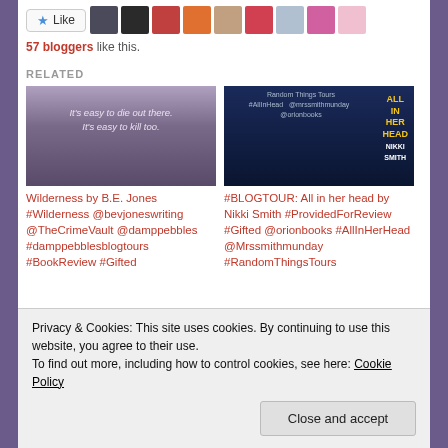[Figure (screenshot): Like button with star icon and row of blogger avatars]
57 bloggers like this.
RELATED
[Figure (photo): Dark cloudy sky with text: It's easy to die out there. It's easy to kill too.]
Wilderness by B.E. Jones #Wilderness @bevjoneswriting @TheCrimeVault @damppebbles #damppebblesblogtours #BookReview #Gifted
[Figure (photo): Dark blue book tour banner for All In Her Head by Nikki Smith]
#BLOGTOUR: All in her head by Nikki Smith #ProvidedForReview #Gifted @orionbooks #AllInHerHead @Mrssmithmunday #RandomThingsTours
Privacy & Cookies: This site uses cookies. By continuing to use this website, you agree to their use.
To find out more, including how to control cookies, see here: Cookie Policy
Close and accept